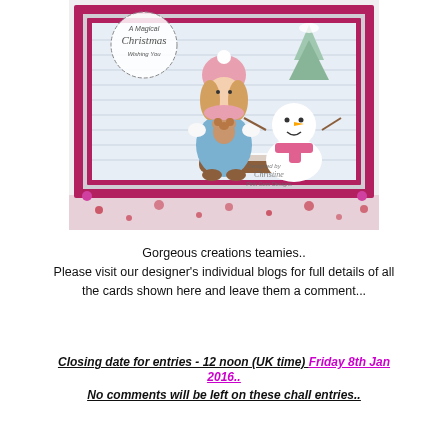[Figure (photo): A handmade Christmas card featuring a girl in a blue coat and pink hat holding a teddy bear, standing next to a snowman in a pink scarf, against a snowy background with a pink decorative frame and gems. A circular badge reads 'A Magical Christmas Wishing You'. Watermark reads 'Designed by Christine Pink Gem Designs'.]
Gorgeous creations teamies..
Please visit our designer's individual blogs for full details of all the cards shown here and leave them a comment...
Closing date for entries - 12 noon  (UK time)  Friday 8th Jan 2016..
No comments will be left on these chall entries..